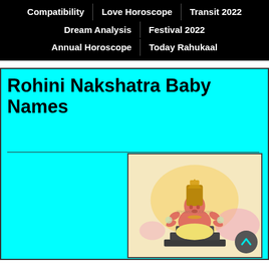Compatibility | Love Horoscope | Transit 2022 | Dream Analysis | Festival 2022 | Annual Horoscope | Today Rahukaal
Rohini Nakshatra Baby Names
[Figure (illustration): Illustration of a Hindu deity (Rohini Nakshatra deity) seated in lotus position on a multi-tiered black throne, with multiple arms, wearing gold ornaments and a tall crown, against a watercolor background of yellow and pink splashes. Watermark text visible in center.]